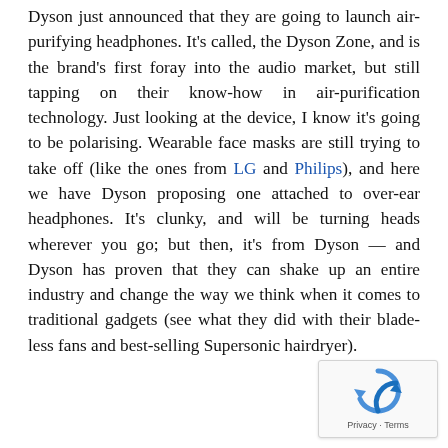Dyson just announced that they are going to launch air-purifying headphones. It's called, the Dyson Zone, and is the brand's first foray into the audio market, but still tapping on their know-how in air-purification technology. Just looking at the device, I know it's going to be polarising. Wearable face masks are still trying to take off (like the ones from LG and Philips), and here we have Dyson proposing one attached to over-ear headphones. It's clunky, and will be turning heads wherever you go; but then, it's from Dyson — and Dyson has proven that they can shake up an entire industry and change the way we think when it comes to traditional gadgets (see what they did with their blade-less fans and best-selling Supersonic hairdryer).
[Figure (other): reCAPTCHA widget with rotating arrows icon and Privacy · Terms label]